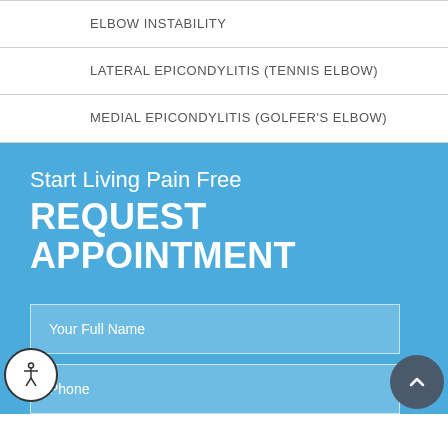ELBOW INSTABILITY
LATERAL EPICONDYLITIS (TENNIS ELBOW)
MEDIAL EPICONDYLITIS (GOLFER'S ELBOW)
Start Living Pain Free
REQUEST APPOINTMENT
Your Full Name
Phone